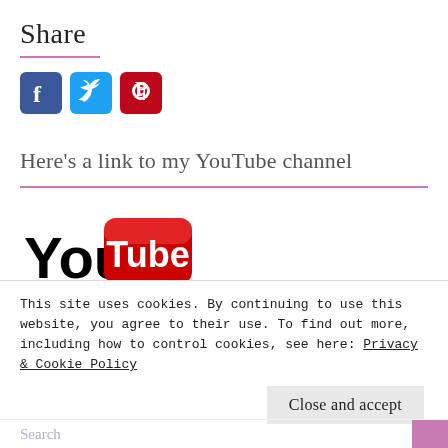Share
[Figure (logo): Social media icons: Facebook (blue), Twitter (light blue), Pinterest (red)]
Here's a link to my YouTube channel
[Figure (logo): YouTube logo: 'You' in black bold text, 'Tube' in white text on red rounded rectangle button]
Archives
This site uses cookies. By continuing to use this website, you agree to their use. To find out more, including how to control cookies, see here: Privacy & Cookie Policy
Close and accept